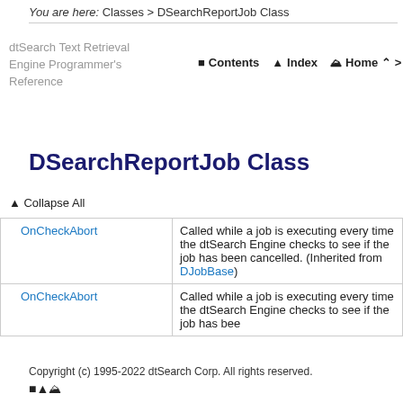You are here: Classes > DSearchReportJob Class
dtSearch Text Retrieval Engine Programmer's Reference
DSearchReportJob Class
▲ Collapse All
|  | Name | Description |
| --- | --- | --- |
|  | OnCheckAbort | Called while a job is executing every time the dtSearch Engine checks to see if the job has been cancelled. (Inherited from DJobBase) |
|  | OnCheckAbort | Called while a job is executing every time the dtSearch Engine checks to see if the job has been |
Copyright (c) 1995-2022 dtSearch Corp. All rights reserved.